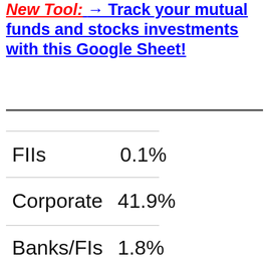New Tool: → Track your mutual funds and stocks investments with this Google Sheet!
FIIs    0.1%
Corporate    41.9%
Banks/FIs    1.8%
Retail    23.8%